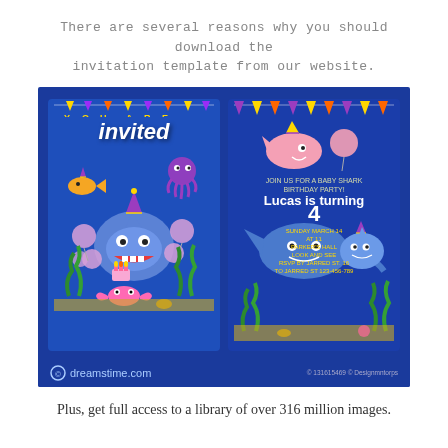There are several reasons why you should download the invitation template from our website.
[Figure (illustration): Two baby shark themed birthday party invitation card designs side by side on a dark blue background. Left card shows cartoon sharks with party hats, balloons, seaweed, a crab, and text 'YOU ARE invited'. Right card shows similar characters with text 'Lucas is turning 4'. Bottom bar has dreamstime.com logo and copyright notice.]
Plus, get full access to a library of over 316 million images.